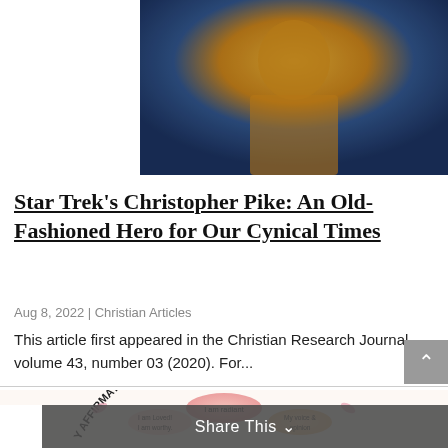[Figure (photo): A person wearing a gold/yellow Star Trek uniform top, photographed from roughly the chest up against a dark studio background]
Star Trek's Christopher Pike: An Old-Fashioned Hero for Our Cynical Times
Aug 8, 2022 | Christian Articles
This article first appeared in the Christian Research Journal, volume 43, number 03 (2020). For...
[Figure (illustration): Colorful decorative graphic with text 'ASSESSING DAILY AFFIRMATIONS' in an arc, with speech bubbles saying 'I am radiant', 'I am Loved! I am worthy.', 'My voice & opinion', and a cartoon person below]
Share This